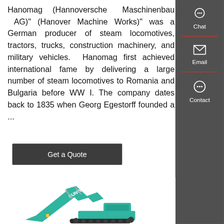Hanomag (Hannoversche Maschinenbau AG)" (Hanover Machine Works)" was a German producer of steam locomotives, tractors, trucks, construction machinery, and military vehicles. Hanomag first achieved international fame by delivering a large number of steam locomotives to Romania and Bulgaria before WW I. The company dates back to 1835 when Georg Egestorff founded a ...
[Figure (other): Dark grey button with white text reading 'Get a Quote']
[Figure (screenshot): Dark sidebar panel with Chat (speech bubble icon), Email (envelope icon), and Contact (chat dots icon) options separated by red dividers]
[Figure (photo): Photo of a teal/blue-green Sunward excavator construction machine on white background]